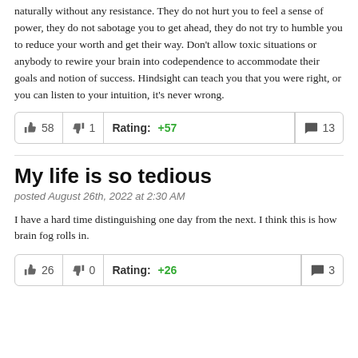naturally without any resistance. They do not hurt you to feel a sense of power, they do not sabotage you to get ahead, they do not try to humble you to reduce your worth and get their way. Don't allow toxic situations or anybody to rewire your brain into codependence to accommodate their goals and notion of success. Hindsight can teach you that you were right, or you can listen to your intuition, it's never wrong.
| thumbs-up 58 | thumbs-down 1 | Rating: +57 | comment 13 |
| --- | --- | --- | --- |
My life is so tedious
posted August 26th, 2022 at 2:30 AM
I have a hard time distinguishing one day from the next. I think this is how brain fog rolls in.
| thumbs-up 26 | thumbs-down 0 | Rating: +26 | comment 3 |
| --- | --- | --- | --- |